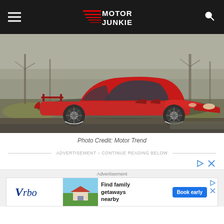Motor Junkie
[Figure (photo): Red Koenigsegg Agera R supercar parked on a misty road surrounded by bare trees and grass]
Photo Credit: Motor Trend
ADVERTISEMENT - CONTINUE READING BELOW
[Figure (other): Advertisement banner - Vrbo: Find family getaways nearby - Book early]